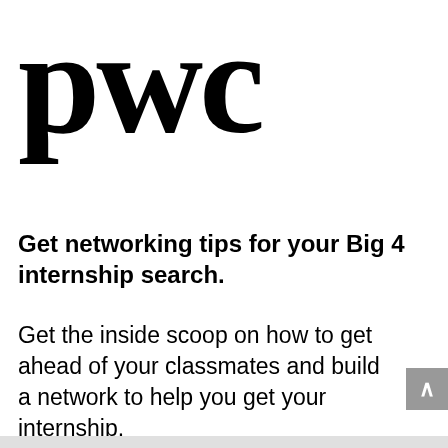[Figure (logo): PwC logo in large bold serif black text]
Get networking tips for your Big 4 internship search.
Get the inside scoop on how to get ahead of your classmates and build a network to help you get your internship.